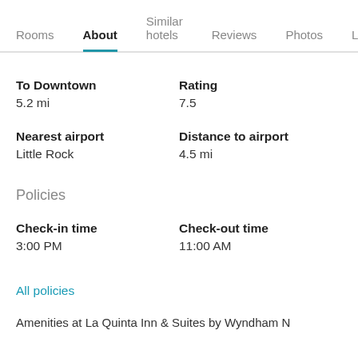Rooms  About  Similar hotels  Reviews  Photos  Loca...
To Downtown
5.2 mi
Rating
7.5
Nearest airport
Little Rock
Distance to airport
4.5 mi
Policies
Check-in time
3:00 PM
Check-out time
11:00 AM
All policies
Amenities at La Quinta Inn & Suites by Wyndham N...